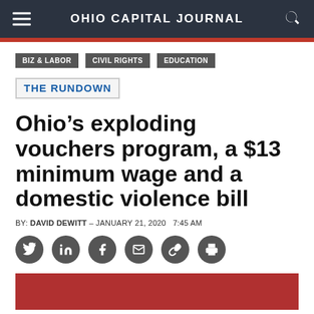OHIO CAPITAL JOURNAL
BIZ & LABOR
CIVIL RIGHTS
EDUCATION
THE RUNDOWN
Ohio’s exploding vouchers program, a $13 minimum wage and a domestic violence bill
BY: DAVID DEWITT – JANUARY 21, 2020    7:45 AM
[Figure (other): Social sharing icons row: Twitter, LinkedIn, Facebook, Email, Link, Print]
[Figure (photo): Red/dark image placeholder at bottom of page]